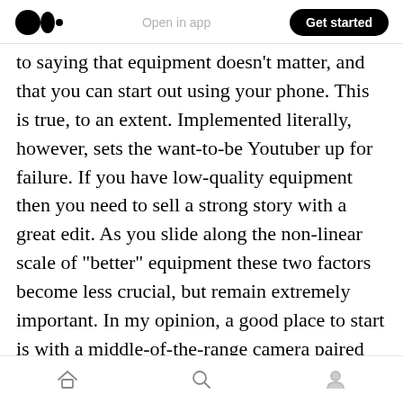Medium logo | Open in app | Get started
to saying that equipment doesn't matter, and that you can start out using your phone. This is true, to an extent. Implemented literally, however, sets the want-to-be Youtuber up for failure. If you have low-quality equipment then you need to sell a strong story with a great edit. As you slide along the non-linear scale of "better" equipment these two factors become less crucial, but remain extremely important. In my opinion, a good place to start is with a middle-of-the-range camera paired with an external microphone. You also want to invest some time learning to edit. A video really is made in the edit.
Home | Search | Profile